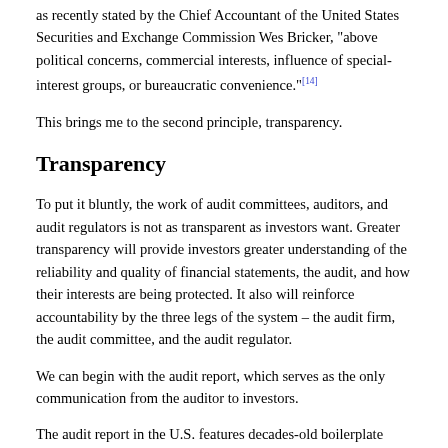as recently stated by the Chief Accountant of the United States Securities and Exchange Commission Wes Bricker, "above political concerns, commercial interests, influence of special-interest groups, or bureaucratic convenience."[14]
This brings me to the second principle, transparency.
Transparency
To put it bluntly, the work of audit committees, auditors, and audit regulators is not as transparent as investors want. Greater transparency will provide investors greater understanding of the reliability and quality of financial statements, the audit, and how their interests are being protected. It also will reinforce accountability by the three legs of the system – the audit firm, the audit committee, and the audit regulator.
We can begin with the audit report, which serves as the only communication from the auditor to investors.
The audit report in the U.S. features decades-old boilerplate language. It largely remains the same regardless of the risks with which a particular company might be dealing, the unique problems that auditors encountered in performing the audit, or the industry in which the company operates.
While investors appreciate the pass or fail nature of the current audit report, they also want more contextual information from their auditor. They want auditors to explain the process they used to reach their